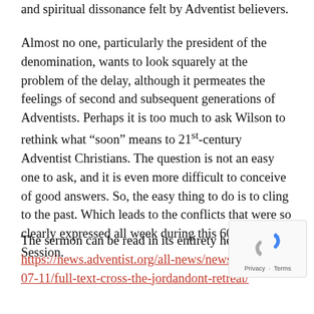and spiritual dissonance felt by Adventist believers.
Almost no one, particularly the president of the denomination, wants to look squarely at the problem of the delay, although it permeates the feelings of second and subsequent generations of Adventists. Perhaps it is too much to ask Wilson to rethink what “soon” means to 21st-century Adventist Christians. The question is not an easy one to ask, and it is even more difficult to conceive of good answers. So, the easy thing to do is to cling to the past. Which leads to the conflicts that were so clearly expressed all week during this 60th GC Session.
The sermon can be read in its entirety here – https://news.adventist.org/all-news/news/go/2015-07-11/full-text-cross-the-jordandont-retreat/